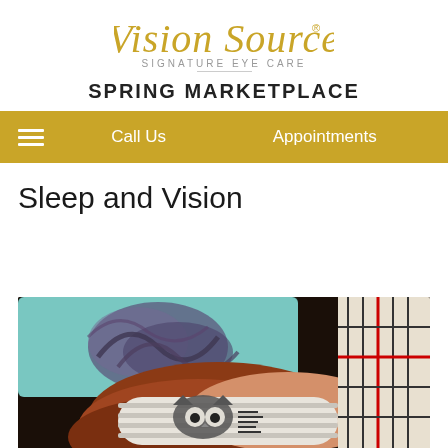[Figure (logo): Vision Source Signature Eye Care logo in gold script with grey subtitle text]
SPRING MARKETPLACE
Call Us   Appointments
Sleep and Vision
[Figure (photo): Person sleeping with a decorative sleep mask (cat face) against a patterned pillow, wearing plaid clothing]